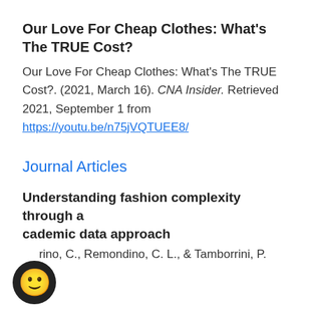Our Love For Cheap Clothes: What's The TRUE Cost?
Our Love For Cheap Clothes: What's The TRUE Cost?. (2021, March 16). CNA Insider. Retrieved 2021, September 1 from https://youtu.be/n75jVQTUEE8/
Journal Articles
Understanding fashion complexity through a cademic data approach
...arino, C., Remondino, C. L., & Tamborrini, P.